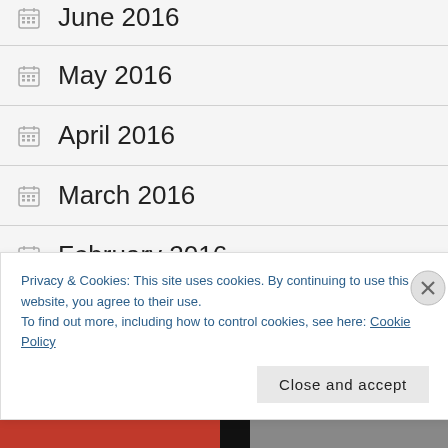June 2016
May 2016
April 2016
March 2016
February 2016
January 2016
December 2015
Privacy & Cookies: This site uses cookies. By continuing to use this website, you agree to their use.
To find out more, including how to control cookies, see here: Cookie Policy
Close and accept